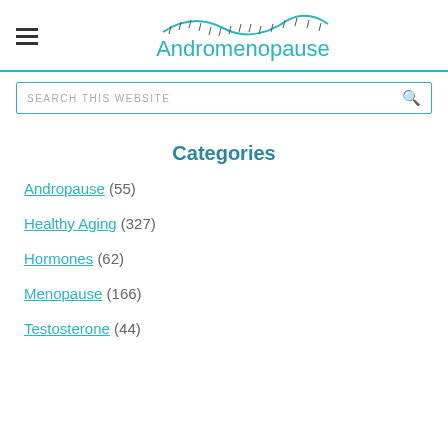Andromenopause
SEARCH THIS WEBSITE
Categories
Andropause (55)
Healthy Aging (327)
Hormones (62)
Menopause (166)
Testosterone (44)